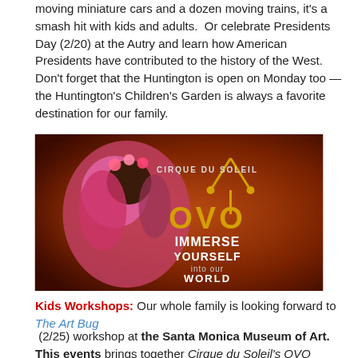moving miniature cars and a dozen moving trains, it's a smash hit with kids and adults.  Or celebrate Presidents Day (2/20) at the Autry and learn how American Presidents have contributed to the history of the West.  Don't forget that the Huntington is open on Monday too — the Huntington's Children's Garden is always a favorite destination for our family.
[Figure (photo): Cirque du Soleil OVO advertisement: a performer in colorful insect costume against a dark red background with text 'Cirque du Soleil OVO IMMERSE YOURSELF into our WORLD']
Kids Workshops: Our whole family is looking forward to The Art Bug (2/25) workshop at the Santa Monica Museum of Art. This events brings together Cirque du Soleil's OVO performers and artist Karen Nakashima for a workshop about the fascinating life of insects. Other family workshops this month are the Craft and Folk Art Museum's CraftLab Over and Under, Let's Weave (2/11), the Hammer's Time Travel – Blast Off! (2/12), and the Fowler's Where in the World is? (2/26).
Is your child fascinated by all things mechanical?  Then he or she will enjoy the Deconstructing Appliances workshop at reDiscover on